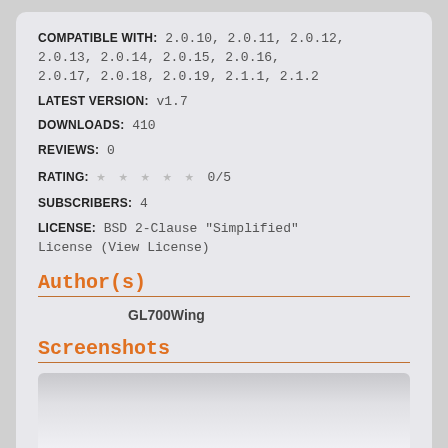COMPATIBLE WITH: 2.0.10, 2.0.11, 2.0.12, 2.0.13, 2.0.14, 2.0.15, 2.0.16, 2.0.17, 2.0.18, 2.0.19, 2.1.1, 2.1.2
LATEST VERSION: v1.7
DOWNLOADS: 410
REVIEWS: 0
RATING: ★★★★★ 0/5
SUBSCRIBERS: 4
LICENSE: BSD 2-Clause "Simplified" License (View License)
Author(s)
GL700Wing
Screenshots
[Figure (screenshot): Partially visible screenshot area at bottom of page]